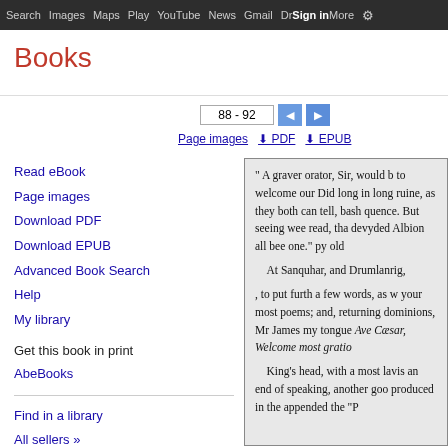Search  Images  Maps  Play  YouTube  News  Gmail  Drive  More  Sign in  (settings)
Books
88 - 92
Page images  PDF  EPUB
Read eBook
Page images
Download PDF
Download EPUB
Advanced Book Search
Help
My library
Get this book in print
AbeBooks
Find in a library
All sellers »
" A graver orator, Sir, would b to welcome our Did long in long ruine, as they both can tell, bash quence. But seeing wee read, tha devyded Albion all bee one." py old

At Sanquhar, and Drumlanrig,

, to put furth a few words, as w your most poems; and, returning dominions, Mr James my tongue Ave Cæsar, Welcome most gratio

King's head, with a most lavis an end of speaking, another goo produced in the appended the "P